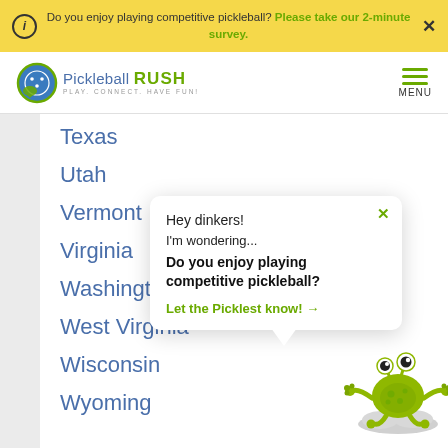Do you enjoy playing competitive pickleball? Please take our 2-minute survey.
[Figure (logo): Pickleball Rush logo with green and blue pickleball mascot and tagline PLAY. CONNECT. HAVE FUN!]
Texas
Utah
Vermont
Virginia
Washington
West Virginia
Wisconsin
Wyoming
Hey dinkers!
I'm wondering...
Do you enjoy playing competitive pickleball?
Let the Picklest know! →